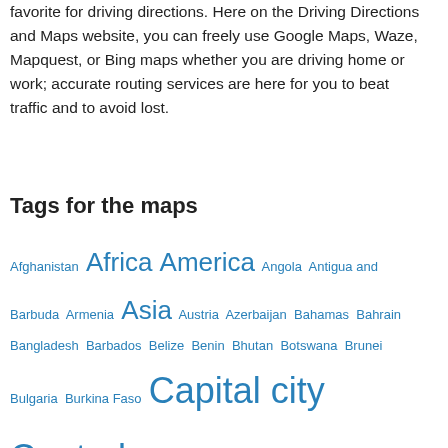favorite for driving directions. Here on the Driving Directions and Maps website, you can freely use Google Maps, Waze, Mapquest, or Bing maps whether you are driving home or work; accurate routing services are here for you to beat traffic and to avoid lost.
Tags for the maps
Afghanistan Africa America Angola Antigua and Barbuda Armenia Asia Austria Azerbaijan Bahamas Bahrain Bangladesh Barbados Belize Benin Bhutan Botswana Brunei Bulgaria Burkina Faso Capital city Central America and the Caribbean Cyprus Driving Directions Europe